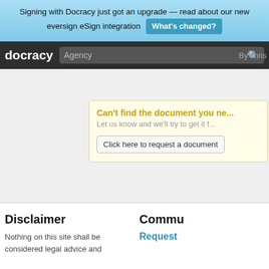Signing with Docracy just got an upgrade — read about our new eversign eSign integration  What's changed?
docracy  Agency  By chris
[Figure (screenshot): Yellow box with 'Can't find the document you ne...' heading and 'Click here to request a document' button]
Disclaimer
Nothing on this site shall be considered legal advice and
Commu
Request